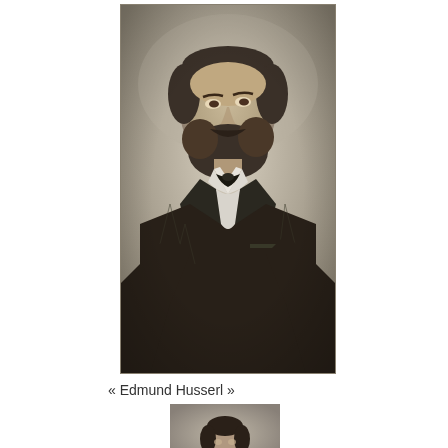[Figure (photo): Black and white historical photograph of Edmund Husserl as a young man, showing him from the waist up, wearing a dark suit jacket and bow tie, with a beard, looking slightly upward to his right.]
« Edmund Husserl »
[Figure (photo): Partial black and white photograph, partially visible at the bottom of the page, showing what appears to be another historical portrait.]